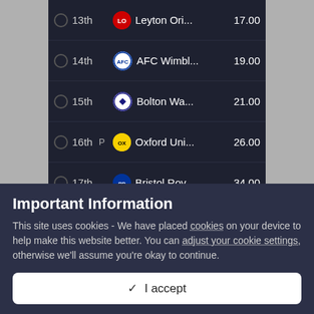| Rank |  | Team | Odds |
| --- | --- | --- | --- |
| 13th |  | Leyton Ori... | 17.00 |
| 14th |  | AFC Wimbl... | 19.00 |
| 15th |  | Bolton Wa... | 21.00 |
| 16th | P | Oxford Uni... | 26.00 |
| 17th |  | Bristol Rov... | 34.00 |
| 18th |  | Shrewsbur... | 34.00 |
| 19th | P | Swindon T... | 34.00 |
| 20th |  | Carlisle Un... | 51.00 |
| 21st |  | Grimsby To... | 51.00 |
| 22nd |  | Accrington... | 51.00 |
Important Information
This site uses cookies - We have placed cookies on your device to help make this website better. You can adjust your cookie settings, otherwise we'll assume you're okay to continue.